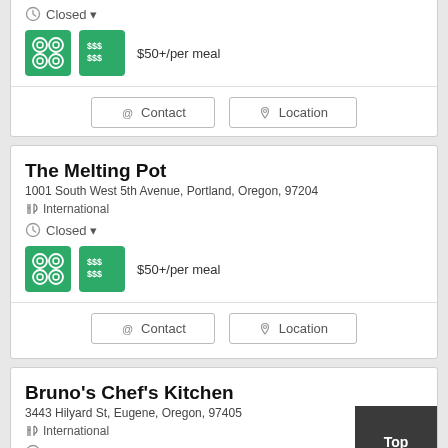Closed
$50+/per meal
Contact
Location
The Melting Pot
1001 South West 5th Avenue, Portland, Oregon, 97204
International
Closed
$50+/per meal
Contact
Location
Bruno's Chef's Kitchen
3443 Hilyard St, Eugene, Oregon, 97405
International
Closed
Top